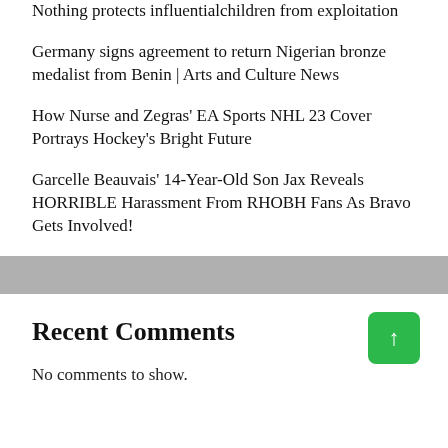Nothing protects influentialchildren from exploitation
Germany signs agreement to return Nigerian bronze medalist from Benin | Arts and Culture News
How Nurse and Zegras' EA Sports NHL 23 Cover Portrays Hockey's Bright Future
Garcelle Beauvais' 14-Year-Old Son Jax Reveals HORRIBLE Harassment From RHOBH Fans As Bravo Gets Involved!
Recent Comments
No comments to show.